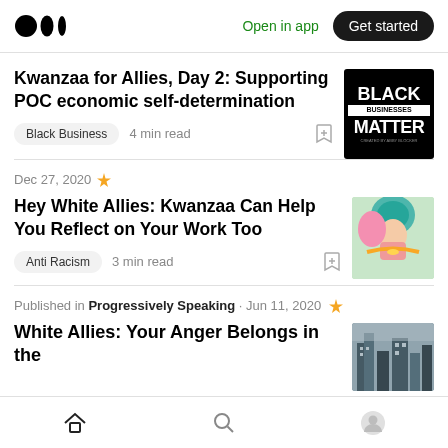Medium logo | Open in app | Get started
Kwanzaa for Allies, Day 2: Supporting POC economic self-determination
Black Business · 4 min read
Dec 27, 2020
Hey White Allies: Kwanzaa Can Help You Reflect on Your Work Too
Anti Racism · 3 min read
Published in Progressively Speaking · Jun 11, 2020
White Allies: Your Anger Belongs in the
Home | Search | Profile